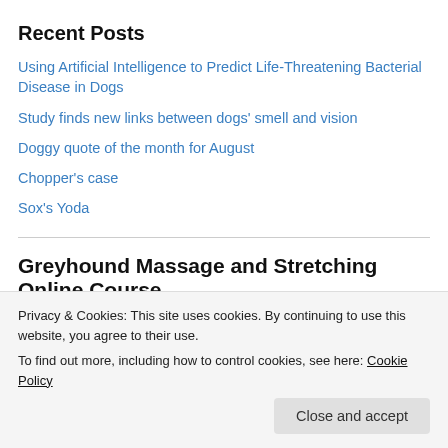Recent Posts
Using Artificial Intelligence to Predict Life-Threatening Bacterial Disease in Dogs
Study finds new links between dogs' smell and vision
Doggy quote of the month for August
Chopper's case
Sox's Yoda
Greyhound Massage and Stretching Online Course
[Figure (photo): Photo strip showing a greyhound and person, partially visible, with a blue bar overlay]
Privacy & Cookies: This site uses cookies. By continuing to use this website, you agree to their use.
To find out more, including how to control cookies, see here: Cookie Policy